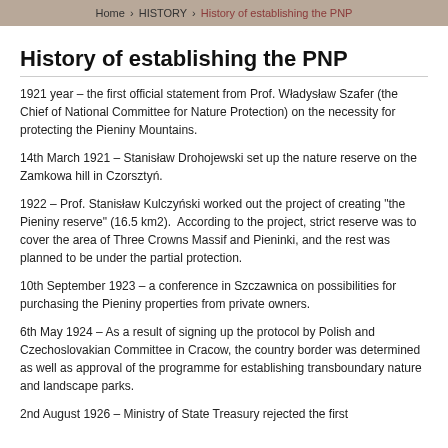Home > HISTORY > History of establishing the PNP
History of establishing the PNP
1921 year – the first official statement from Prof. Władysław Szafer (the Chief of National Committee for Nature Protection) on the necessity for protecting the Pieniny Mountains.
14th March 1921 – Stanisław Drohojewski set up the nature reserve on the Zamkowa hill in Czorsztyń.
1922 – Prof. Stanisław Kulczyński worked out the project of creating "the Pieniny reserve" (16.5 km2). According to the project, strict reserve was to cover the area of Three Crowns Massif and Pieninki, and the rest was planned to be under the partial protection.
10th September 1923 – a conference in Szczawnica on possibilities for purchasing the Pieniny properties from private owners.
6th May 1924 – As a result of signing up the protocol by Polish and Czechoslovakian Committee in Cracow, the country border was determined as well as approval of the programme for establishing transboundary nature and landscape parks.
2nd August 1926 – Ministry of State Treasury rejected the first